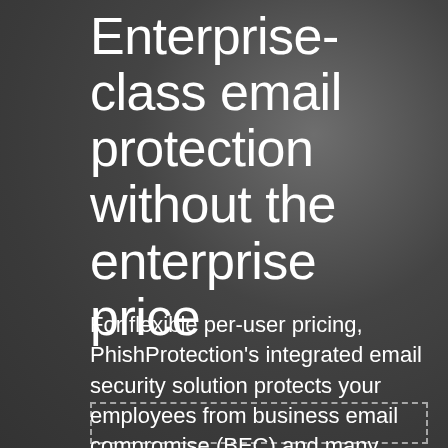Enterprise-class email protection without the enterprise price
For flexible per-user pricing, PhishProtection's integrated email security solution protects your employees from business email compromise (BEC) and many other email threats. 24×7. On any device. With features you'd expect in more expensive solutions:
[Figure (other): Dashed rectangle outline at the bottom of the page, indicating a placeholder or content area below]